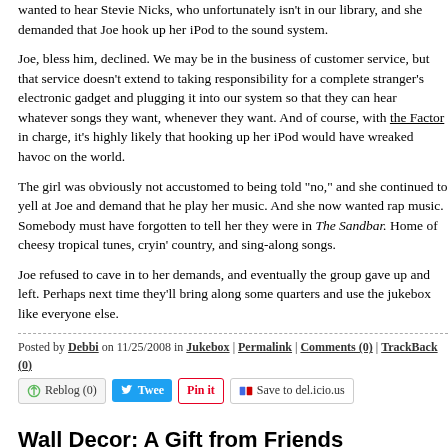wanted to hear Stevie Nicks, who unfortunately isn't in our library, and she demanded that Joe hook up her iPod to the sound system.
Joe, bless him, declined. We may be in the business of customer service, but that service doesn't extend to taking responsibility for a complete stranger's electronic gadget and plugging it into our system so that they can hear whatever songs they want, whenever they want. And of course, with the Factor in charge, it's highly likely that hooking up her iPod would have wreaked havoc on the world.
The girl was obviously not accustomed to being told "no," and she continued to yell at Joe and demand that he play her music. And she now wanted rap music. Somebody must have forgotten to tell her they were in The Sandbar. Home of cheesy tropical tunes, cryin' country, and sing-along songs.
Joe refused to cave in to her demands, and eventually the group gave up and left. Perhaps next time they'll bring along some quarters and use the jukebox like everyone else.
Posted by Debbi on 11/25/2008 in Jukebox | Permalink | Comments (0) | TrackBack (0)
Wall Decor: A Gift from Friends
Much of the stuff that graces the walls of The Sandbar was gifted by customers. Many times, graduating seniors who are getting ready to leave Lawrence wi...